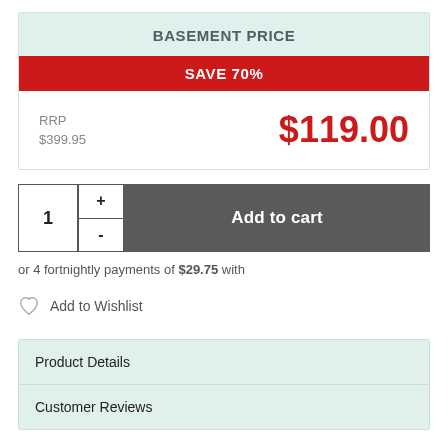BASEMENT PRICE
SAVE 70%
RRP
$399.95
$119.00
1
+
-
Add to cart
or 4 fortnightly payments of $29.75 with
Add to Wishlist
Product Details
Customer Reviews